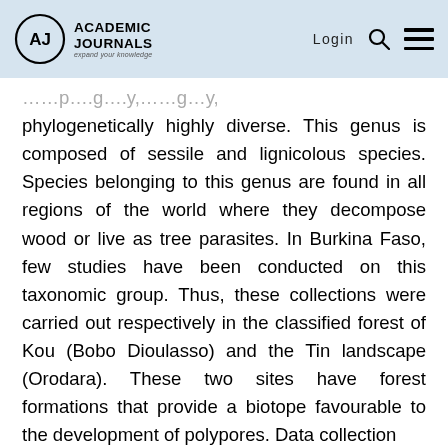Academic Journals — expand your knowledge | Login
phylogenetically highly diverse. This genus is composed of sessile and lignicolous species. Species belonging to this genus are found in all regions of the world where they decompose wood or live as tree parasites. In Burkina Faso, few studies have been conducted on this taxonomic group. Thus, these collections were carried out respectively in the classified forest of Kou (Bobo Dioulasso) and the Tin landscape (Orodara). These two sites have forest formations that provide a biotope favourable to the development of polypores. Data collection